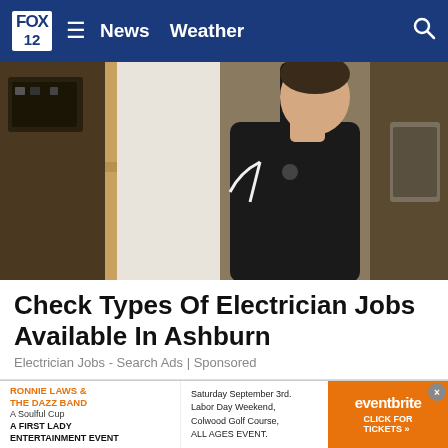FOX 12 — News  Weather
[Figure (photo): Person in black shirt doing electrical work, threading wire through wall framing in what appears to be a construction or workshop setting]
Check Types Of Electrician Jobs Available In Ashburn
Electrician Jobs - Search Ads | Sponsored
[Figure (photo): Close-up of person in black The Joint shirt bending forward, showing neck and upper body]
[Figure (infographic): Eventbrite advertisement banner: RONNIE LAWS & THE DAZZ BAND, A Soulful Cup, A FIRST LADY ENTERTAINMENT EVENT. Saturday September 3rd. Labor Day Weekend, Colwood Golf Course, ALL AGES EVENT. eventbrite CLICK FOR TICKETS >>]